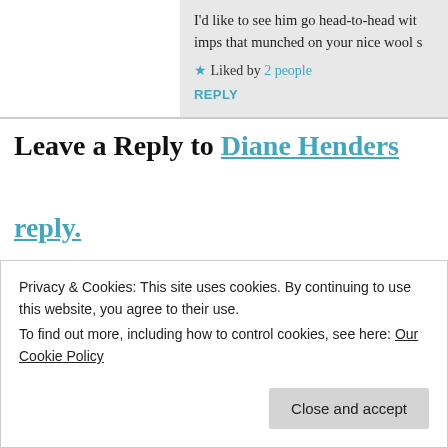I'd like to see him go head-to-head wit… imps that munched on your nice wool s…
★ Liked by 2 people
REPLY
Leave a Reply to Diane Henders
reply.
Your email address will not be published. Required fie… marked *
Privacy & Cookies: This site uses cookies. By continuing to use this website, you agree to their use. To find out more, including how to control cookies, see here: Our Cookie Policy
Close and accept